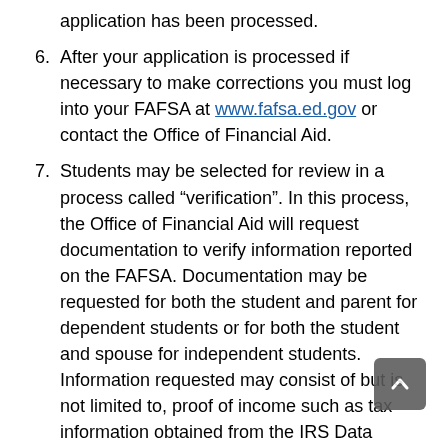application has been processed.
6. After your application is processed if necessary to make corrections you must log into your FAFSA at www.fafsa.ed.gov or contact the Office of Financial Aid.
7. Students may be selected for review in a process called “verification”. In this process, the Office of Financial Aid will request documentation to verify information reported on the FAFSA. Documentation may be requested for both the student and parent for dependent students or for both the student and spouse for independent students. Information requested may consist of but is not limited to, proof of income such as tax information obtained from the IRS Data Retrieval System or an IRS Tax